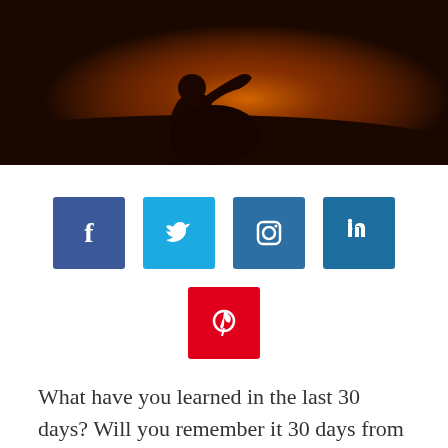[Figure (photo): A silhouette of a person sitting against an orange/amber sunset sky background]
[Figure (infographic): Four social media icon buttons: Facebook (dark blue), Twitter (light blue), Instagram (medium blue), LinkedIn (medium blue), and Pinterest (red) below]
What have you learned in the last 30 days?  Will you remember it 30 days from now?